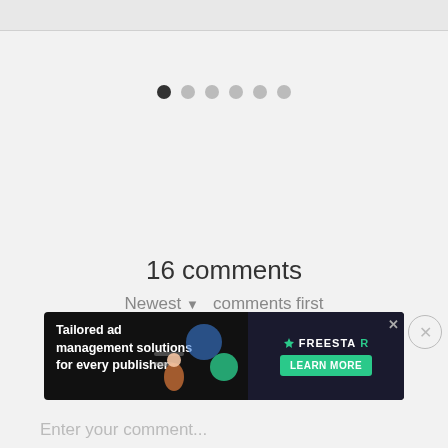[Figure (screenshot): Pagination dots row with one filled black dot and five grey dots]
16 comments
Newest ▼  comments first
[Figure (illustration): Penguin avatar icon with black and white coloring and yellow beak]
[Figure (screenshot): Advertisement banner: Tailored ad management solutions for every publisher | FREESTAR | LEARN MORE]
Enter your comment...